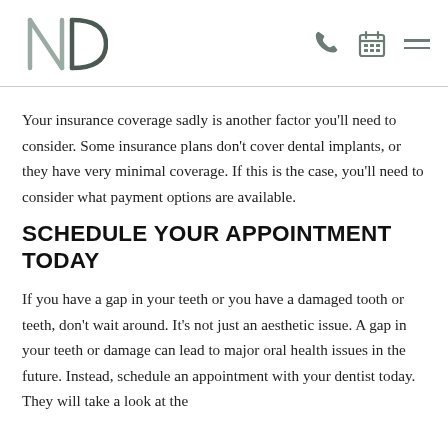ND logo with phone, calendar and menu icons
Your insurance coverage sadly is another factor you'll need to consider. Some insurance plans don't cover dental implants, or they have very minimal coverage. If this is the case, you'll need to consider what payment options are available.
SCHEDULE YOUR APPOINTMENT TODAY
If you have a gap in your teeth or you have a damaged tooth or teeth, don't wait around. It's not just an aesthetic issue. A gap in your teeth or damage can lead to major oral health issues in the future. Instead, schedule an appointment with your dentist today. They will take a look at the...